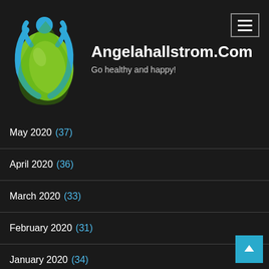[Figure (logo): Angelahallstrom.com logo — blue human figure with green leaf/droplet shape]
Angelahallstrom.Com
Go healthy and happy!
May 2020 (37)
April 2020 (36)
March 2020 (33)
February 2020 (31)
January 2020 (34)
December 2019 (33)
November 2019 (31)
October 2019 (33)
September 2019 (31)